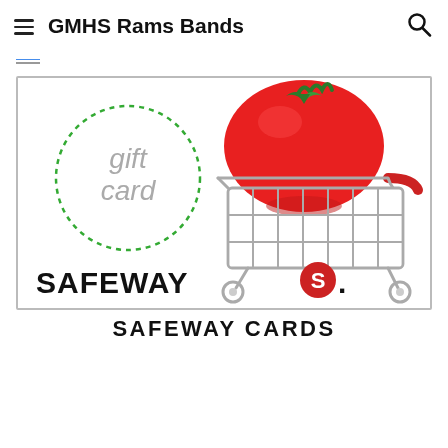GMHS Rams Bands
(navigation link, partially visible)
[Figure (illustration): Safeway gift card promotional image showing a dotted green circle with 'gift card' text in gray, a large red tomato sitting in a silver shopping cart, and the SAFEWAY logo with red S symbol at the bottom left]
SAFEWAY CARDS